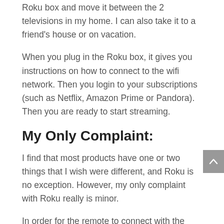Roku box and move it between the 2 televisions in my home. I can also take it to a friend's house or on vacation.
When you plug in the Roku box, it gives you instructions on how to connect to the wifi network. Then you login to your subscriptions (such as Netflix, Amazon Prime or Pandora). Then you are ready to start streaming.
My Only Complaint:
I find that most products have one or two things that I wish were different, and Roku is no exception. However, my only complaint with Roku really is minor.
In order for the remote to connect with the Roku box, nothing can be blocking the path of